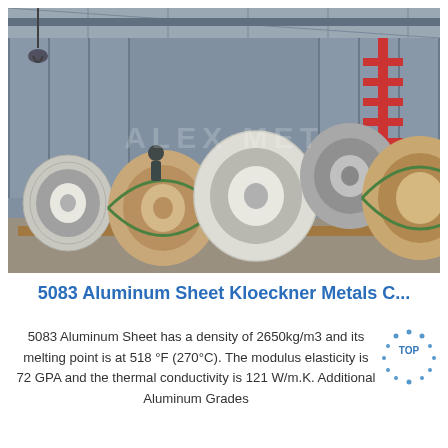[Figure (photo): Industrial warehouse interior showing multiple large rolls of aluminum sheet coiled on wooden pallets, some wrapped in brown paper with green banding. Overhead crane hook visible at top left. Red crane structure visible in background right. The image has a watermark reading 'ALEX MET'.]
5083 Aluminum Sheet Kloeckner Metals C...
5083 Aluminum Sheet has a density of 2650kg/m3 and its melting point is at 518 °F (270°C). The modulus elasticity is 72 GPA and the thermal conductivity is 121 W/m.K. Additional Aluminum Grades